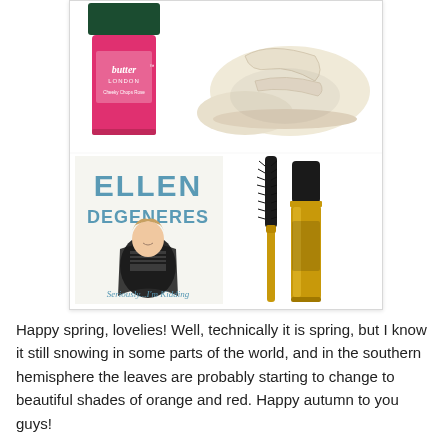[Figure (illustration): Collage of four product/media images: a Butter London pink nail polish bottle, cream ballet flat shoes with ankle strap, an Ellen DeGeneres book cover titled 'Seriously...I'm Kidding', and a gold mascara set.]
Happy spring, lovelies! Well, technically it is spring, but I know it still snowing in some parts of the world, and in the southern hemisphere the leaves are probably starting to change to beautiful shades of orange and red. Happy autumn to you guys!